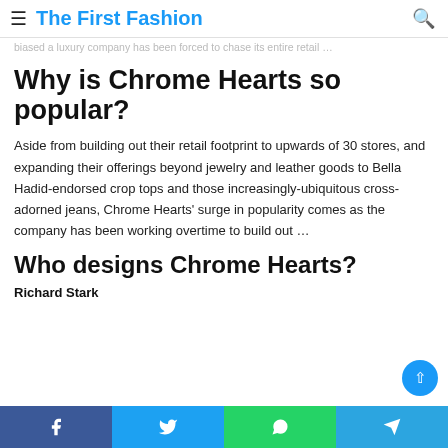The First Fashion
Why is Chrome Hearts so popular?
Aside from building out their retail footprint to upwards of 30 stores, and expanding their offerings beyond jewelry and leather goods to Bella Hadid-endorsed crop tops and those increasingly-ubiquitous cross-adorned jeans, Chrome Hearts' surge in popularity comes as the company has been working overtime to build out …
Who designs Chrome Hearts?
Richard Stark
Facebook Twitter WhatsApp Telegram